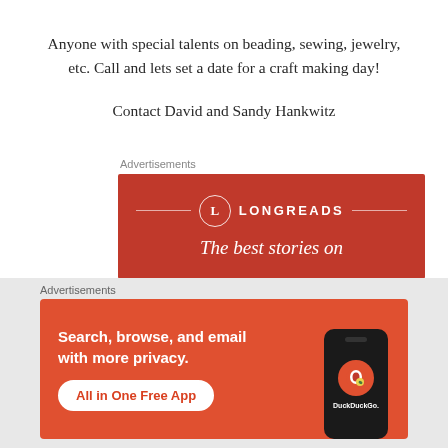Anyone with special talents on beading, sewing, jewelry, etc. Call and lets set a date for a craft making day!
Contact David and Sandy Hankwitz
Advertisements
[Figure (other): Longreads advertisement banner with red background, circular L logo, and text 'The best stories on']
Advertisements
[Figure (other): DuckDuckGo advertisement with orange-red background showing phone graphic and text 'Search, browse, and email with more privacy. All in One Free App']